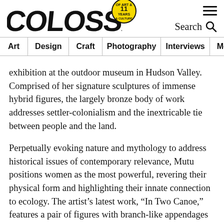COLOSSAL — 11 Years of Art & Culture
Search | Navigation: Art | Design | Craft | Photography | Interviews | More
exhibition at the outdoor museum in Hudson Valley. Comprised of her signature sculptures of immense hybrid figures, the largely bronze body of work addresses settler-colonialism and the inextricable tie between people and the land.
Perpetually evoking nature and mythology to address historical issues of contemporary relevance, Mutu positions women as the most powerful, revering their physical form and highlighting their innate connection to ecology. The artist's latest work, “In Two Canoe,” features a pair of figures with branch-like appendages momentarily straddling a skinny vessel, their faces wrapped in mangrove leaves. “This plant has moved